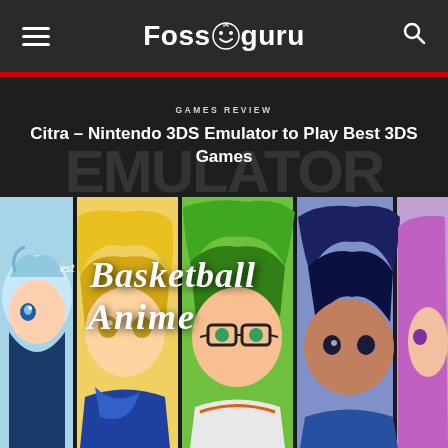Fossguru
Citra – Nintendo 3DS Emulator to Play Best 3DS Games
[Figure (illustration): Basketball Anime illustration showing multiple anime characters with colorful backgrounds including characters with blue, blonde, green, dark blue, and purple hair. Title text reads 'est Basketball Anime' in cursive white letters.]